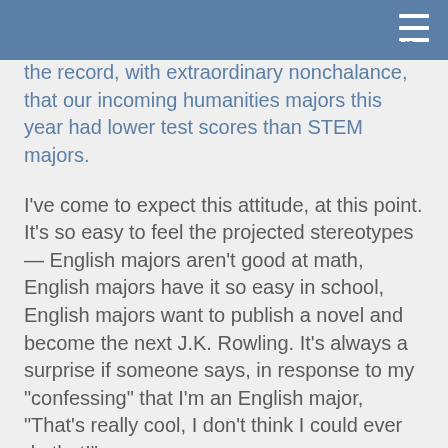I wasn't even upset by the story. I mean, recently a Rice administrator literally said on the record, with extraordinary nonchalance, that our incoming humanities majors this year had lower test scores than STEM majors.
I've come to expect this attitude, at this point. It's so easy to feel the projected stereotypes — English majors aren't good at math, English majors have it so easy in school, English majors want to publish a novel and become the next J.K. Rowling. It's always a surprise if someone says, in response to my "confessing" that I'm an English major, "That's really cool, I don't think I could ever do that!"
How many times have people I barely know asked me what I was going to do with an English major? How many times have people asked me why I wanted to be an English major? How many times have people asked me if I'm also pre-med or pre-law, as if that'll somehow justify "what" I am? Why can't I just be an English major?
Every first club meeting, every casual introduction during